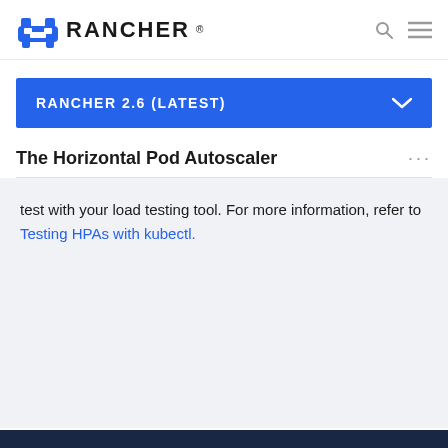RANCHER
RANCHER 2.6 (LATEST)
The Horizontal Pod Autoscaler
test with your load testing tool. For more information, refer to Testing HPAs with kubectl.
EDIT THIS PAGE